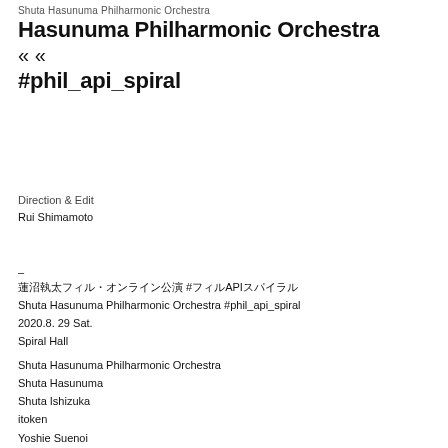Shuta Hasunuma Philharmonic Orchestra
Hasunuma Philharmonic Orchestra
« «
#phil_api_spiral
Direction & Edit
Rui Shimamoto
–
蓮沼執太フィル・オンライン公演 #フィルAPIスパイラル
Shuta Hasunuma Philharmonic Orchestra #phil_api_spiral
2020.8. 29 Sat.
Spiral Hall
Shuta Hasunuma Philharmonic Orchestra
Shuta Hasunuma
Shuta Ishizuka
itoken
Yoshie Suenoi